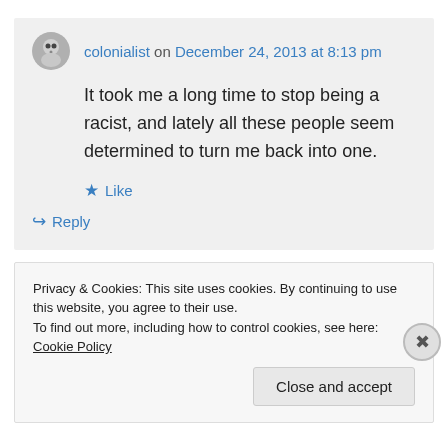colonialist on December 24, 2013 at 8:13 pm
It took me a long time to stop being a racist, and lately all these people seem determined to turn me back into one.
Like
Reply
Privacy & Cookies: This site uses cookies. By continuing to use this website, you agree to their use.
To find out more, including how to control cookies, see here: Cookie Policy
Close and accept